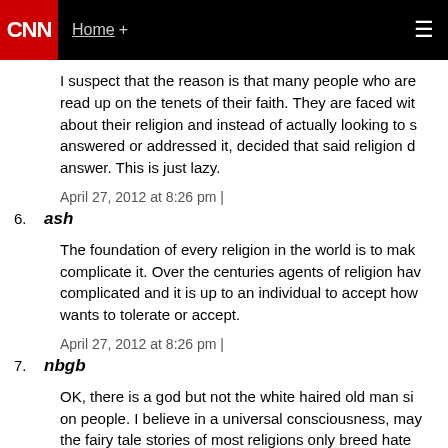CNN | Home +
I suspect that the reason is that many people who are read up on the tenets of their faith. They are faced with about their religion and instead of actually looking to s answered or addressed it, decided that said religion d answer. This is just lazy.
April 27, 2012 at 8:26 pm |
6. ash
The foundation of every religion in the world is to mak complicate it. Over the centuries agents of religion ha complicated and it is up to an individual to accept how wants to tolerate or accept.
April 27, 2012 at 8:26 pm |
7. nbgb
OK, there is a god but not the white haired old man si on people. I believe in a universal consciousness, may the fairy tale stories of most religions only breed hate